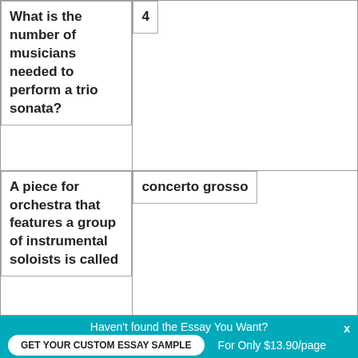| Question | Answer |
| --- | --- |
| What is the number of musicians needed to perform a trio sonata? | 4 |
| A piece for orchestra that features a group of instrumental soloists is called | concerto grosso |
Haven't found the Essay You Want?
GET YOUR CUSTOM ESSAY SAMPLE
For Only $13.90/page